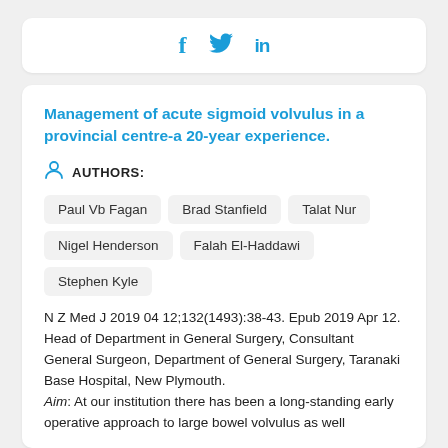[Figure (other): Social media share icons: Facebook (f), Twitter (bird), LinkedIn (in)]
Management of acute sigmoid volvulus in a provincial centre-a 20-year experience.
AUTHORS:
Paul Vb Fagan
Brad Stanfield
Talat Nur
Nigel Henderson
Falah El-Haddawi
Stephen Kyle
N Z Med J 2019 04 12;132(1493):38-43. Epub 2019 Apr 12. Head of Department in General Surgery, Consultant General Surgeon, Department of General Surgery, Taranaki Base Hospital, New Plymouth. Aim: At our institution there has been a long-standing early operative approach to large bowel volvulus as well